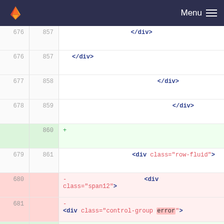GitLab Menu
676  857    </div>
676  857    </div>
677  858                                </div>
678  859                            </div>
     860  +
679  861                            <div class="row-fluid">
680       -                               <div class="span12">
681       -                               <div class="control-group error">
     862  +                               <div
Code diff view showing HTML template changes